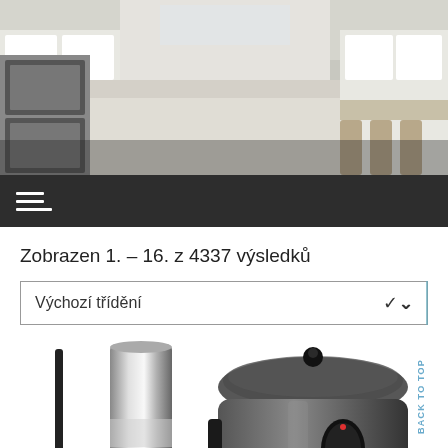[Figure (photo): Kitchen interior with white cabinets, marble island, stainless steel appliances]
[Figure (other): Dark navigation bar with hamburger menu icon (three white horizontal lines)]
Zobrazen 1. – 16. z 4337 výsledků
[Figure (other): Sort dropdown selector labeled 'Výchozí třídění' with a chevron arrow on the right]
[Figure (photo): Left product: slim cylindrical stainless steel container/bottle and a dark rod/case. Right product: dark/black slow cooker with glass lid and control knob.]